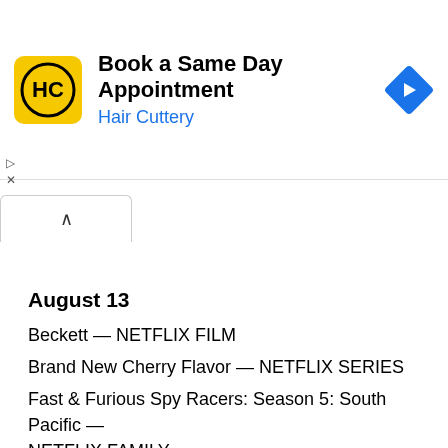[Figure (screenshot): Hair Cuttery advertisement banner with yellow logo, 'Book a Same Day Appointment' text, and blue navigation arrow icon]
August 13
Beckett — NETFLIX FILM
Brand New Cherry Flavor — NETFLIX SERIES
Fast & Furious Spy Racers: Season 5: South Pacific — NETFLIX FAMILY
Gone for Good — NETFLIX SERIES
The Kingdom — NETFLIX SERIES
Valeria: Season 2 — NETFLIX SERIES